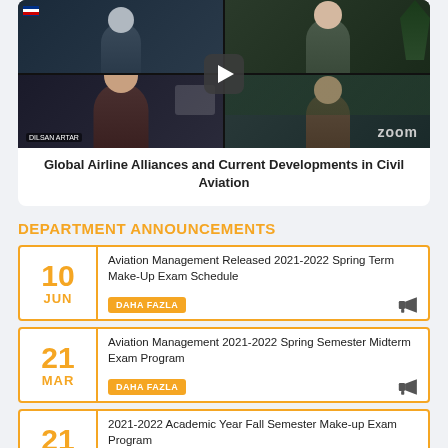[Figure (screenshot): Zoom video call screenshot showing multiple participants in a 2x2 grid with a play button overlay and 'zoom' watermark]
Global Airline Alliances and Current Developments in Civil Aviation
DEPARTMENT ANNOUNCEMENTS
Aviation Management Released 2021-2022 Spring Term Make-Up Exam Schedule — DAHA FAZLA — 10 JUN
Aviation Management 2021-2022 Spring Semester Midterm Exam Program — DAHA FAZLA — 21 MAR
2021-2022 Academic Year Fall Semester Make-up Exam Program — 21 JAN